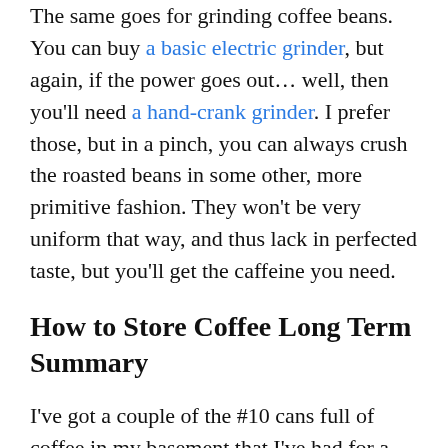The same goes for grinding coffee beans. You can buy a basic electric grinder, but again, if the power goes out… well, then you'll need a hand-crank grinder. I prefer those, but in a pinch, you can always crush the roasted beans in some other, more primitive fashion. They won't be very uniform that way, and thus lack in perfected taste, but you'll get the caffeine you need.
How to Store Coffee Long Term Summary
I've got a couple of the #10 cans full of coffee in my basement that I've had for a long while with my other #10 cans. I decided to try a can of French Roast. If it's French roast it can't be half bad right? Ha! It tasted terrible.
You don't want to drink nasty coffee today, so you